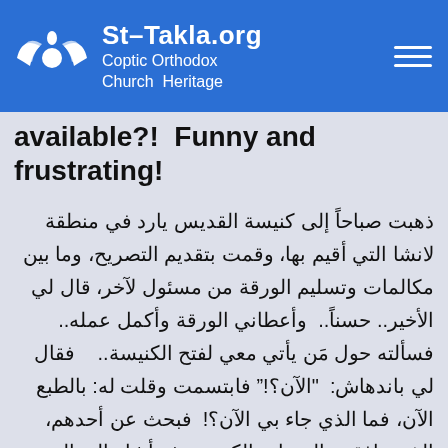St-Takla.org Coptic Orthodox Church Heritage
available?!  Funny and frustrating!
ذهبت صباحاً إلى كنيسة القديس يارد في منطقة لانشا التي أقيم بها، وقمت بتقديم التصريح، وما بين مكالمات وتسليم الورقة من مسئول لآخر، قال لي الأخير.. حسناً..  وأعطاني الورقة وأكمل عمله..   فسألته حول مَن يأتي معي لفتح الكنيسة..    فقال لي باندهاش:  "الآن؟!" فابتسمت وقلت له: بالطبع الآن، فما الذي جاء بي الآن؟!  فبحث عن أحدهم، الذي رافقني إلى باب الكنيسة، ثم أشار إلى المبنى لأقوم بأخذ الصور، فلم آخذ أي صور وأخبرته أنني أريد